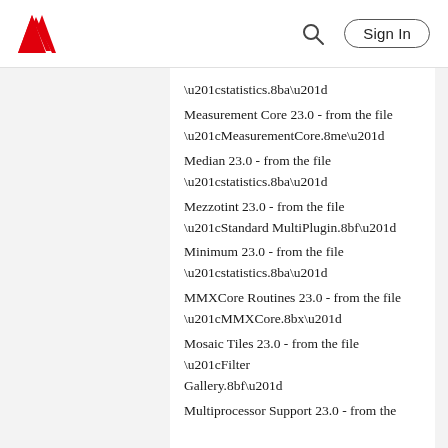Adobe | Sign In
“statistics.8ba”
Measurement Core 23.0 - from the file “MeasurementCore.8me”
Median 23.0 - from the file “statistics.8ba”
Mezzotint 23.0 - from the file “Standard MultiPlugin.8bf”
Minimum 23.0 - from the file “statistics.8ba”
MMXCore Routines 23.0 - from the file “MMXCore.8bx”
Mosaic Tiles 23.0 - from the file “Filter Gallery.8bf”
Multiprocessor Support 23.0 - from the